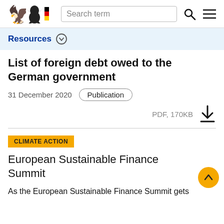Search term
Resources
List of foreign debt owed to the German government
31 December 2020   Publication
PDF, 170KB
CLIMATE ACTION
European Sustainable Finance Summit
As the European Sustainable Finance Summit gets